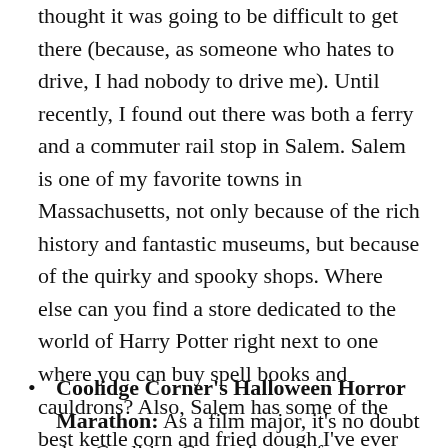thought it was going to be difficult to get there (because, as someone who hates to drive, I had nobody to drive me). Until recently, I found out there was both a ferry and a commuter rail stop in Salem. Salem is one of my favorite towns in Massachusetts, not only because of the rich history and fantastic museums, but because of the quirky and spooky shops. Where else can you find a store dedicated to the world of Harry Potter right next to one where you can buy spell books and cauldrons? Also, Salem has some of the best kettle corn and fried dough I've ever had in my life. So even if historically haunted houses and the Salem Witch Trials freak you out, do it for the dough.
Coolidge Corner's Halloween Horror Marathon: As a film major, it's no doubt that Coolidge Corner is one of my favorite theaters. The theater